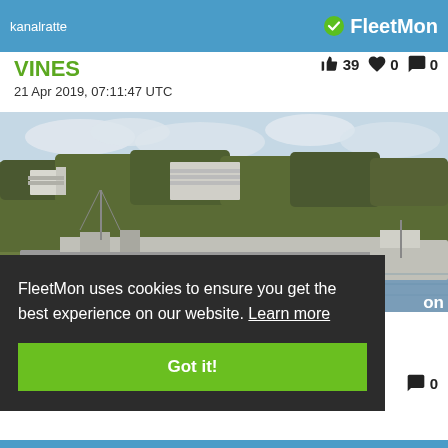kanalratte   FleetMon
VINES
👍 39  ♥ 0  💬 0
21 Apr 2019, 07:11:47 UTC
[Figure (photo): A river scene showing a large cargo barge and a smaller vessel on the water, with a wooded hillside and modern buildings in the background, under a partly cloudy sky.]
FleetMon uses cookies to ensure you get the best experience on our website. Learn more
Got it!
on
💬 0